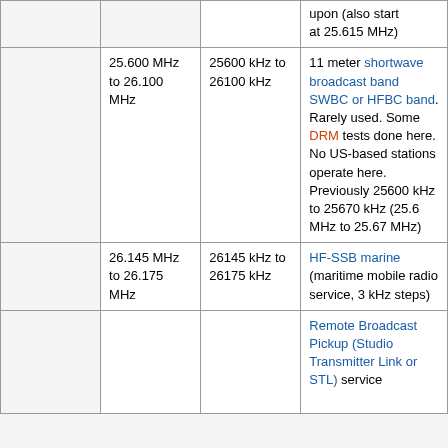|  |  |  |  |
| --- | --- | --- | --- |
|  |  |  | upon (also start at 25.615 MHz) |
| 25.600 MHz to 26.100 MHz | 25600 kHz to 26100 kHz |  | 11 meter shortwave broadcast band SWBC or HFBC band. Rarely used. Some DRM tests done here. No US-based stations operate here. Previously 25600 kHz to 25670 kHz (25.6 MHz to 25.67 MHz) |
| 26.145 MHz to 26.175 MHz | 26145 kHz to 26175 kHz |  | HF-SSB marine (maritime mobile radio service, 3 kHz steps) |
|  |  |  | Remote Broadcast Pickup (Studio Transmitter Link or STL) service |